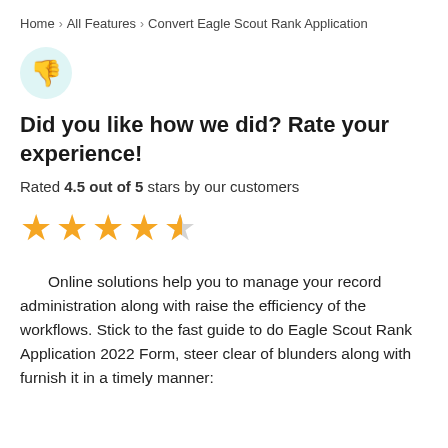Home › All Features › Convert Eagle Scout Rank Application
[Figure (illustration): Thumbs down emoji icon inside a light teal/cyan circle]
Did you like how we did? Rate your experience!
Rated 4.5 out of 5 stars by our customers
[Figure (other): 4.5 out of 5 gold stars rating display]
Online solutions help you to manage your record administration along with raise the efficiency of the workflows. Stick to the fast guide to do Eagle Scout Rank Application 2022 Form, steer clear of blunders along with furnish it in a timely manner: